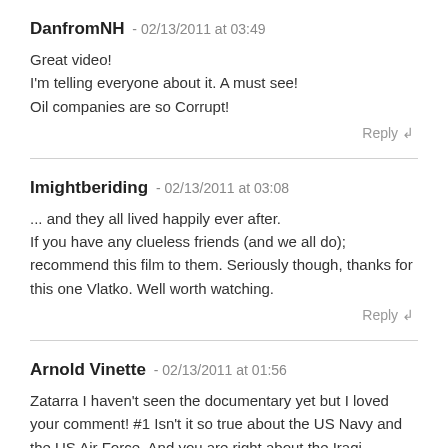DanfromNH - 02/13/2011 at 03:49
Great video!
I'm telling everyone about it. A must see!
Oil companies are so Corrupt!
Reply ↲
Imightberiding - 02/13/2011 at 03:08
... and they all lived happily ever after.
If you have any clueless friends (and we all do); recommend this film to them. Seriously though, thanks for this one Vlatko. Well worth watching.
Reply ↲
Arnold Vinette - 02/13/2011 at 01:56
Zatarra I haven't seen the documentary yet but I loved your comment! #1 Isn't it so true about the US Navy and the US Air Force. And you are right about the Iraqi